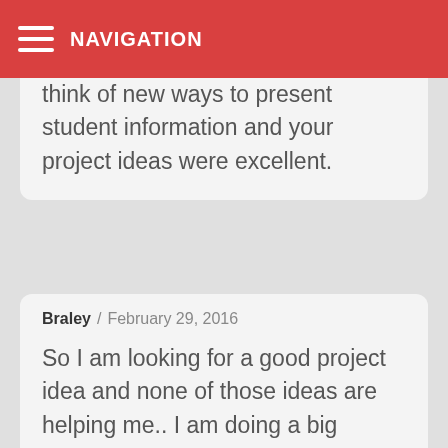NAVIGATION
Thank you for reinvigorating my creative ideas. Trying to think of new ways to present student information and your project ideas were excellent.
Braley / February 29, 2016
So I am looking for a good project idea and none of those ideas are helping me.. I am doing a big project on the Constitution and it is worth 252 points.. I wanna do something that no one else is doing but none of those are